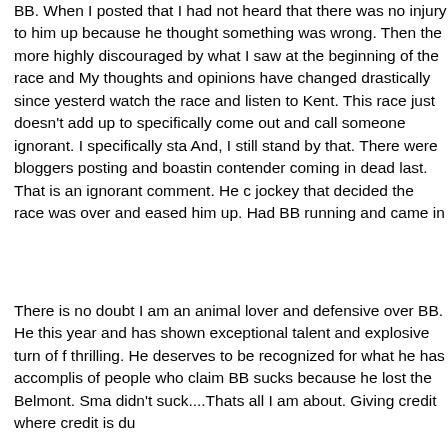BB. When I posted that I had not heard that there was no injury to him up because he thought something was wrong. Then the more highly discouraged by what I saw at the beginning of the race and My thoughts and opinions have changed drastically since yesterd watch the race and listen to Kent. This race just doesn't add up to specifically come out and call someone ignorant. I specifically sta And, I still stand by that. There were bloggers posting and boastin contender coming in dead last. That is an ignorant comment. He c jockey that decided the race was over and eased him up. Had BB running and came in dead last then that would be valid, but that's to hold the horse responsible for coming in dead last when it was
There is no doubt I am an animal lover and defensive over BB. He this year and has shown exceptional talent and explosive turn of f thrilling. He deserves to be recognized for what he has accomplis of people who claim BB sucks because he lost the Belmont. Sma didn't suck....Thats all I am about. Giving credit where credit is du